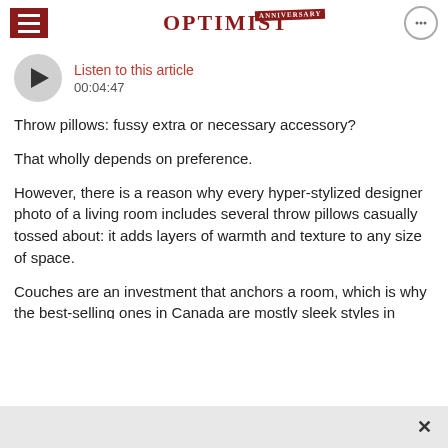OPTIMIST ANNIVERSARY
Listen to this article
00:04:47
Throw pillows: fussy extra or necessary accessory?
That wholly depends on preference.
However, there is a reason why every hyper-stylized designer photo of a living room includes several throw pillows casually tossed about: it adds layers of warmth and texture to any size of space.
Couches are an investment that anchors a room, which is why the best-selling ones in Canada are mostly sleek styles in muted and neutral tones. Going for a classic